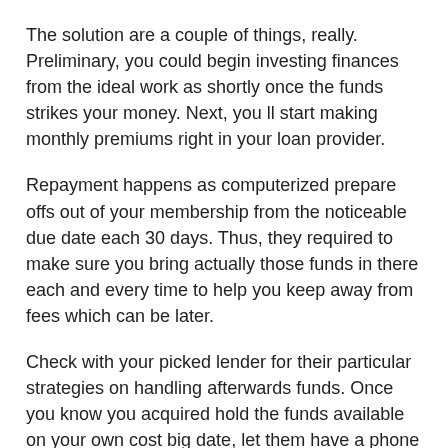The solution are a couple of things, really. Preliminary, you could begin investing finances from the ideal work as shortly once the funds strikes your money. Next, you ll start making monthly premiums right in your loan provider.
Repayment happens as computerized prepare offs out of your membership from the noticeable due date each 30 days. Thus, they required to make sure you bring actually those funds in there each and every time to help you keep away from fees which can be later.
Check with your picked lender for their particular strategies on handling afterwards funds. Once you know you acquired hold the funds available on your own cost big date, let them have a phone call when to suit your selections. Be sure you experiment their unique charges which are belated interest rate before a mortgage provide.
Profit Unique Functions